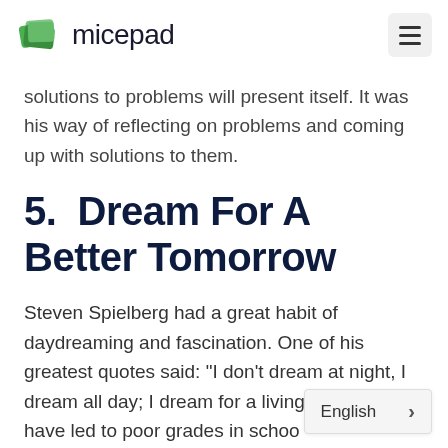micepad
solutions to problems will present itself. It was his way of reflecting on problems and coming up with solutions to them.
5.  Dream For A Better Tomorrow
Steven Spielberg had a great habit of daydreaming and fascination. One of his greatest quotes said: "I don't dream at night, I dream all day; I dream for a living." This might have led to poor grades in schoo…
English >